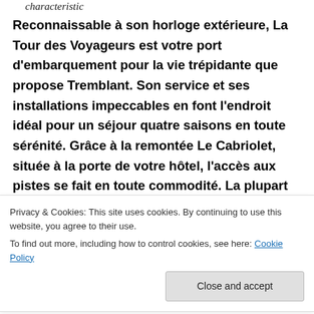characteristic
Reconnaissable à son horloge extérieure, La Tour des Voyageurs est votre port d'embarquement pour la vie trépidante que propose Tremblant. Son service et ses installations impeccables en font l'endroit idéal pour un séjour quatre saisons en toute sérénité. Grâce à la remontée Le Cabriolet, située à la porte de votre hôtel, l'accès aux pistes se fait en toute commodité. La plupart des unités sont équipées d'un foyer, d'une
Privacy & Cookies: This site uses cookies. By continuing to use this website, you agree to their use.
To find out more, including how to control cookies, see here: Cookie Policy
extérieur chauffé, ou encore, reposez-vous